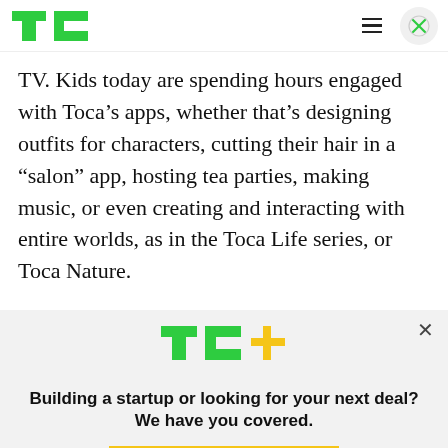TechCrunch logo, hamburger menu, close button
TV. Kids today are spending hours engaged with Toca’s apps, whether that’s designing outfits for characters, cutting their hair in a “salon” app, hosting tea parties, making music, or even creating and interacting with entire worlds, as in the Toca Life series, or Toca Nature.
These characters are featured in Toca Boca’s
[Figure (logo): TC+ logo with green TC and yellow plus sign]
Building a startup or looking for your next deal? We have you covered.
EXPLORE NOW